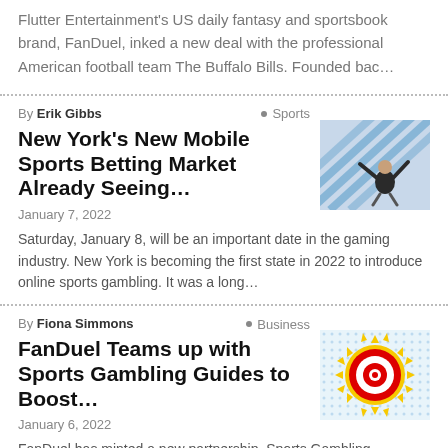Flutter Entertainment's US daily fantasy and sportsbook brand, FanDuel, inked a new deal with the professional American football team The Buffalo Bills. Founded bac…
By Erik Gibbs · Sports
New York's New Mobile Sports Betting Market Already Seeing…
January 7, 2022
Saturday, January 8, will be an important date in the gaming industry. New York is becoming the first state in 2022 to introduce online sports gambling. It was a long…
[Figure (photo): Man in suit jumping with arms raised, blue diagonal lines in background]
By Fiona Simmons · Business
FanDuel Teams up with Sports Gambling Guides to Boost…
January 6, 2022
FanDuel has minted a new partnership. Sports Gambling
[Figure (photo): Pop-art style sun with red and white bullseye target in center, yellow spiky rays]